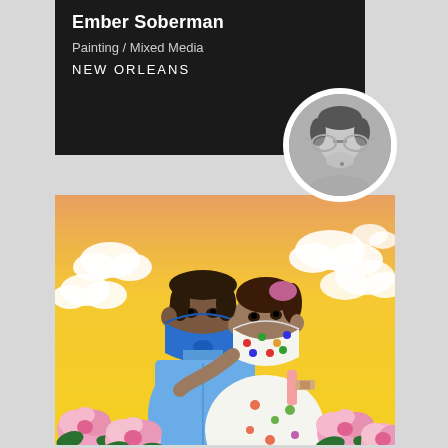Ember Soberman
Painting / Mixed Media
NEW ORLEANS
[Figure (photo): Black and white circular profile photo of artist Ember Soberman wearing aviator sunglasses]
[Figure (photo): Colorful painting of two figures embracing, both wearing face masks, surrounded by pink roses against a yellow sky with clouds. The man wears a blue mask and blue shirt; the woman wears a polka-dot mask and floral dress.]